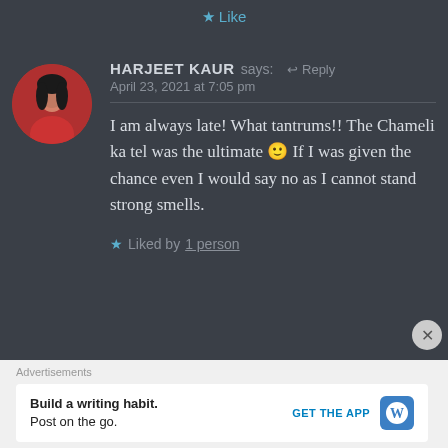★ Like
HARJEET KAUR says: ↩ Reply
April 23, 2021 at 7:05 pm
I am always late! What tantrums!! The Chameli ka tel was the ultimate 🙂 If I was given the chance even I would say no as I cannot stand strong smells.
★ Liked by 1 person
Advertisements
Build a writing habit.
Post on the go.
GET THE APP